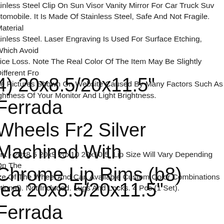ainless Steel Clip On Sun Visor Vanity Mirror For Car Truck Suv Automobile. It Is Made Of Stainless Steel, Safe And Not Fragile. Material ainless Steel. Laser Engraving Is Used For Surface Etching, Which Avoids vice Loss. Note The Real Color Of The Item May Be Slightly Different From he Pictures Shown On Website Caused By Many Factors Such As lightness Of Your Monitor And Light Brightness.
4) 20x8.5/20x11.5" Ferrada Wheels Fr2 Silver Machined With Chrome Lip Rims (b8)
ont - 20x8.5 20x9 20x10 20x10.5. Lip Size Will Vary Depending On The ize Of The Wheel And Car. Available Custom Color Combinations otional). Not Included. Lugs And Locks. 4 Pcs (1 Set).
lea 20x8.5/20x11.5" Ferrada Wheels Fr3 Matte Black With Gloss Black Lip(s4)